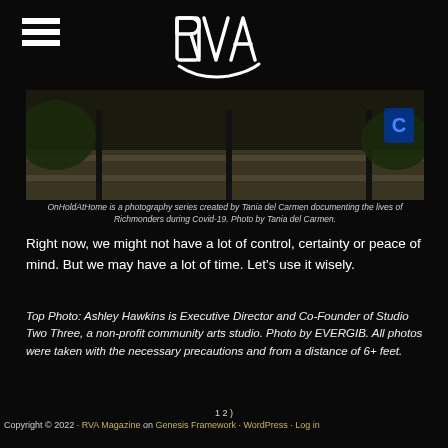RVA (logo)
[Figure (photo): Outdoor stairs and railing with greenery, photograph from OnHoldAtHome series by Tania del Carmen]
OnHoldAtHome is a photography series created by Tania del Carmen documenting the lives of Richmonders during Covid-19. Photo by Tania del Carmen.
Right now, we might not have a lot of control, certainty or peace of mind. But we may have a lot of time. Let's use it wisely.
Top Photo: Ashley Hawkins is Executive Director and Co-Founder of Studio Two Three, a non-profit community arts studio. Photo by EVERGIB. All photos were taken with the necessary precautions and from a distance of 6+ feet.
1 2 )
Copyright © 2022 · RVA Magazine on Genesis Framework · WordPress · Log in